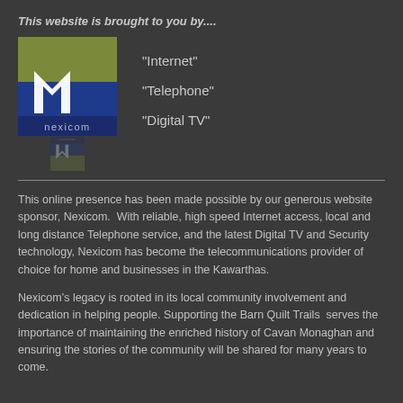This website is brought to you by....
[Figure (logo): Nexicom company logo with stylized white 'n' on blue and olive/green background, with reflection below]
"Internet"
"Telephone"
"Digital TV"
This online presence has been made possible by our generous website sponsor, Nexicom.  With reliable, high speed Internet access, local and long distance Telephone service, and the latest Digital TV and Security technology, Nexicom has become the telecommunications provider of choice for home and businesses in the Kawarthas.
Nexicom’s legacy is rooted in its local community involvement and dedication in helping people. Supporting the Barn Quilt Trails serves the importance of maintaining the enriched history of Cavan Monaghan and ensuring the stories of the community will be shared for many years to come.